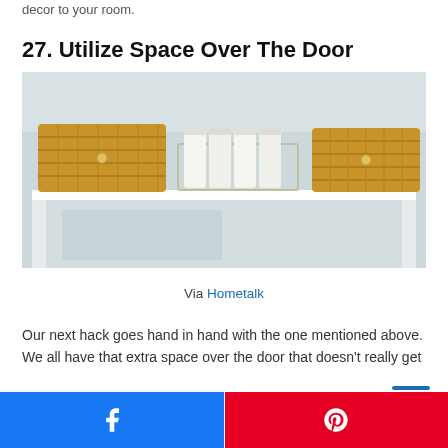decor to your room.
27. Utilize Space Over The Door
[Figure (photo): Photo showing the space above a white door with a white shelf holding wicker baskets on both sides and a wire basket with white jars in the middle.]
Via Hometalk
Our next hack goes hand in hand with the one mentioned above. We all have that extra space over the door that doesn't really get